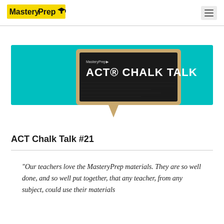MasteryPrep [logo] [hamburger menu]
[Figure (illustration): ACT Chalk Talk banner image with teal background featuring a chalkboard speech bubble sign with MasteryPrep logo and text 'ACT CHALK TALK' in bold white letters]
ACT Chalk Talk #21
“Our teachers love the MasteryPrep materials. They are so well done, and so well put together, that any teacher, from any subject, could use their materials